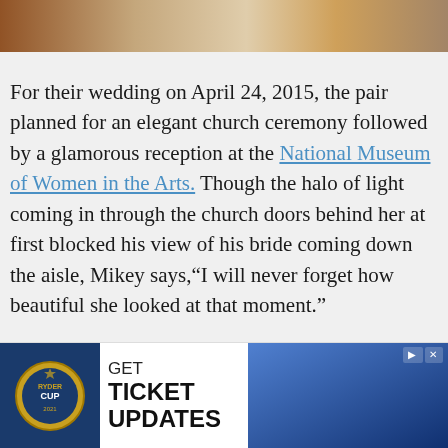[Figure (photo): Partial photo strip at top of page showing wedding or event scene with warm tones]
For their wedding on April 24, 2015, the pair planned for an elegant church ceremony followed by a glamorous reception at the National Museum of Women in the Arts. Though the halo of light coming in through the church doors behind her at first blocked his view of his bride coming down the aisle, Mikey says,"I will never forget how beautiful she looked at that moment."
[Figure (screenshot): Advertisement banner for Ryder Cup 'GET TICKET UPDATES' with Ryder Cup logo on the left and golfer image on the right]